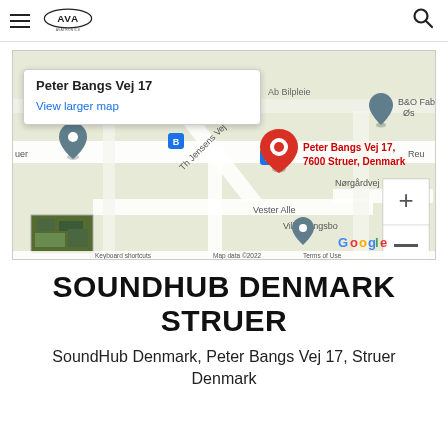AVA Avatronics logo with hamburger menu and search icon
[Figure (map): Google Maps screenshot showing Peter Bangs Vej 17, 7600 Struer, Denmark with a red location pin, street names including Th Jensens Vej, Vester Alle, Nørgårdvej, nearby landmarks B&O Fabrik 2, Villa Bangsbo, zoom controls, and a map popup reading 'Peter Bangs Vej 17 / View larger map']
SOUNDHUB DENMARK STRUER
SoundHub Denmark, Peter Bangs Vej 17, Struer Denmark